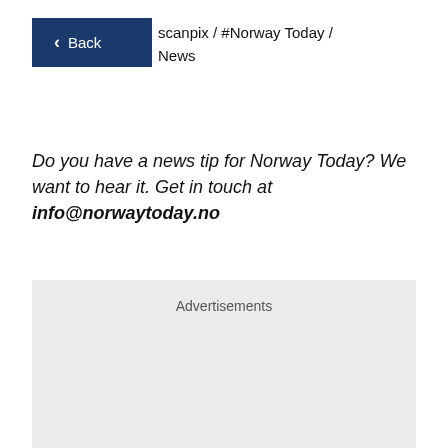Back  scanpix / #Norway Today / News
Do you have a news tip for Norway Today? We want to hear it. Get in touch at info@norwaytoday.no
[Figure (other): Advertisements placeholder box with light grey background]